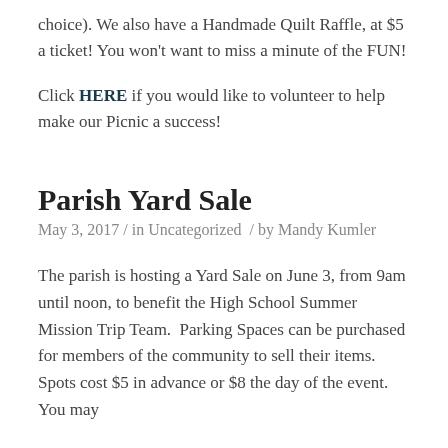choice). We also have a Handmade Quilt Raffle, at $5 a ticket! You won't want to miss a minute of the FUN!
Click HERE if you would like to volunteer to help make our Picnic a success!
Parish Yard Sale
May 3, 2017 / in Uncategorized  / by Mandy Kumler
The parish is hosting a Yard Sale on June 3, from 9am until noon, to benefit the High School Summer Mission Trip Team.  Parking Spaces can be purchased for members of the community to sell their items.  Spots cost $5 in advance or $8 the day of the event.  You may